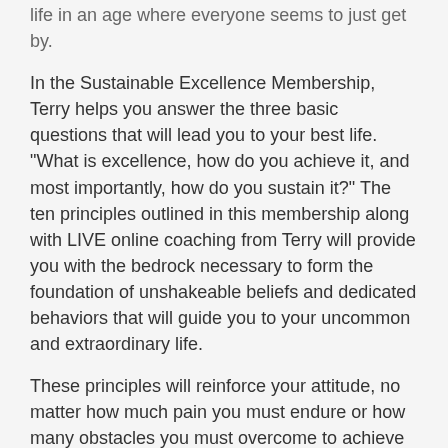life in an age where everyone seems to just get by.
In the Sustainable Excellence Membership, Terry helps you answer the three basic questions that will lead you to your best life. "What is excellence, how do you achieve it, and most importantly, how do you sustain it?" The ten principles outlined in this membership along with LIVE online coaching from Terry will provide you with the bedrock necessary to form the foundation of unshakeable beliefs and dedicated behaviors that will guide you to your uncommon and extraordinary life.
These principles will reinforce your attitude, no matter how much pain you must endure or how many obstacles you must overcome to achieve and maintain excellence. Do you have what it takes to apply these principles to lead your uncommon and extraordinary life?